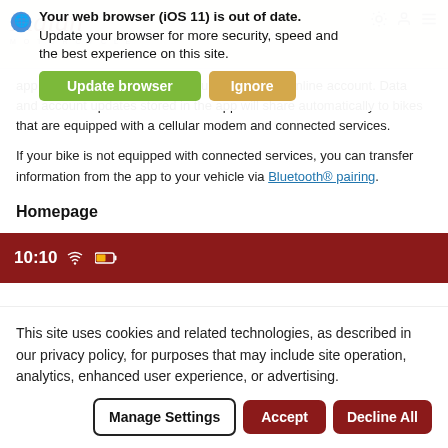Indian Motorcycle header with logo and navigation icons
[Figure (screenshot): Browser update banner overlaid on page: 'Your web browser (iOS 11) is out of date. Update your browser for more security, speed and the best experience on this site.' with green 'Update browser' button and orange/tan button]
app will automatically sync to your COMMAND online account. Data and account updates stored in the app will share automatically to bikes that are equipped with a cellular modem and connected services.
If your bike is not equipped with connected services, you can transfer information from the app to your vehicle via Bluetooth® pairing.
Homepage
On the homepage, you will see your Indian Motorcycle, number of tracked rides, tracked mileage and the vehicle's ride time.
[Figure (screenshot): Red mobile app header bar showing time 10:10 with WiFi and battery icons]
This site uses cookies and related technologies, as described in our privacy policy, for purposes that may include site operation, analytics, enhanced user experience, or advertising.
[Figure (screenshot): Cookie consent overlay with 'Manage Settings', 'Accept', and 'Decline All' buttons]